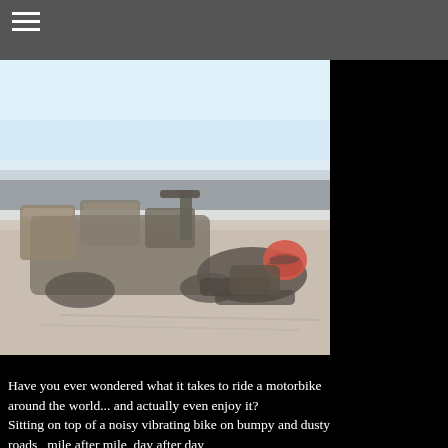[Figure (photo): A motorcyclist in full riding gear and red helmet lying on the ground next to a heavily loaded motorbike on a sandy/dusty terrain. The bike has many bags and equipment attached to it. The background shows a bright sky and flat arid landscape.]
Have you ever wondered what it takes to ride a motorbike around the world... and actually even enjoy it?
Sitting on top of a noisy vibrating bike on bumpy and dusty roads,  mile after mile, day after day,
month after month,  year after year?